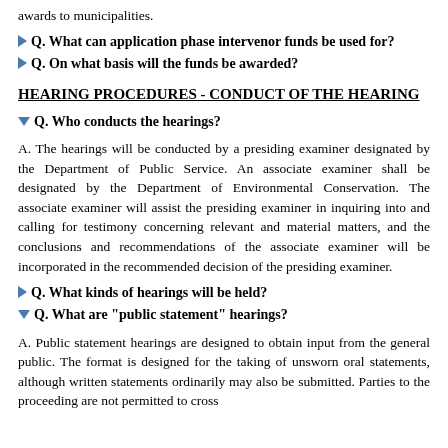awards to municipalities.
Q. What can application phase intervenor funds be used for?
Q. On what basis will the funds be awarded?
HEARING PROCEDURES - CONDUCT OF THE HEARING
Q. Who conducts the hearings?
A. The hearings will be conducted by a presiding examiner designated by the Department of Public Service. An associate examiner shall be designated by the Department of Environmental Conservation. The associate examiner will assist the presiding examiner in inquiring into and calling for testimony concerning relevant and material matters, and the conclusions and recommendations of the associate examiner will be incorporated in the recommended decision of the presiding examiner.
Q. What kinds of hearings will be held?
Q. What are "public statement" hearings?
A. Public statement hearings are designed to obtain input from the general public. The format is designed for the taking of unsworn oral statements, although written statements ordinarily may also be submitted. Parties to the proceeding are not permitted to cross